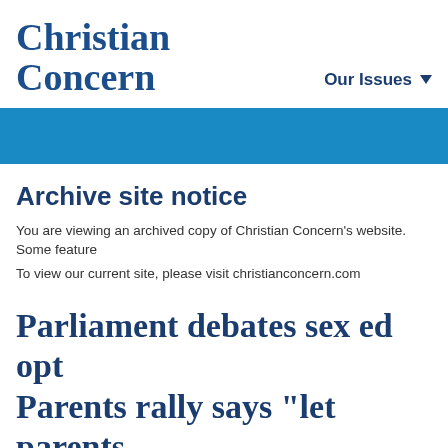[Figure (logo): Christian Concern logo in dark blue serif text]
Our Issues ▼
[Figure (other): Blue horizontal banner band]
Archive site notice
You are viewing an archived copy of Christian Concern's website. Some feature
To view our current site, please visit christianconcern.com
Parliament debates sex ed opt... Parents rally says "let parents...
Published February 15th, 2012 | Education, Family, Politics, Religion, ...